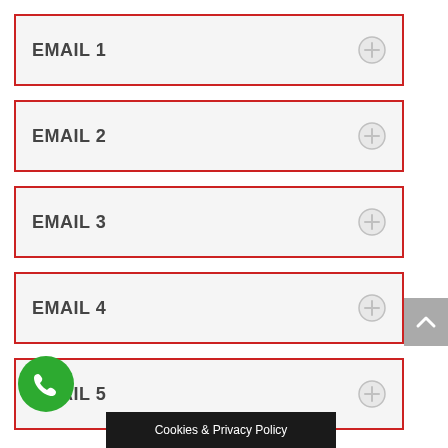EMAIL 1
EMAIL 2
EMAIL 3
EMAIL 4
EMAIL 5
[Figure (other): Back to top button with upward arrow]
[Figure (other): Green phone call FAB button]
Cookies & Privacy Policy